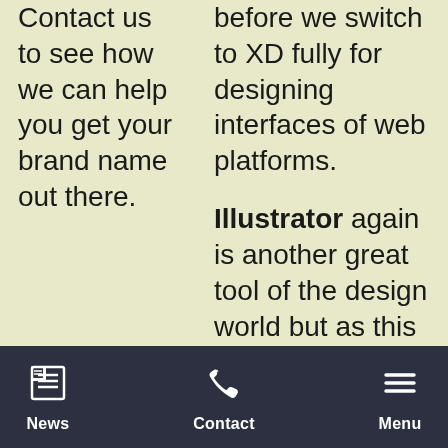Contact us to see how we can help you get your brand name out there.
before we switch to XD fully for designing interfaces of web platforms.
Illustrator again is another great tool of the design world but as this is a very heavy program I feel the biggest benefit this has to design is to create brandings such as logo's, style tiles and vector-based objects.
News  Contact  Menu